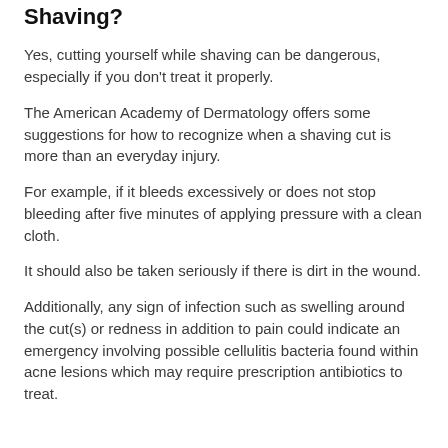Shaving?
Yes, cutting yourself while shaving can be dangerous, especially if you don't treat it properly.
The American Academy of Dermatology offers some suggestions for how to recognize when a shaving cut is more than an everyday injury.
For example, if it bleeds excessively or does not stop bleeding after five minutes of applying pressure with a clean cloth.
It should also be taken seriously if there is dirt in the wound.
Additionally, any sign of infection such as swelling around the cut(s) or redness in addition to pain could indicate an emergency involving possible cellulitis bacteria found within acne lesions which may require prescription antibiotics to treat.